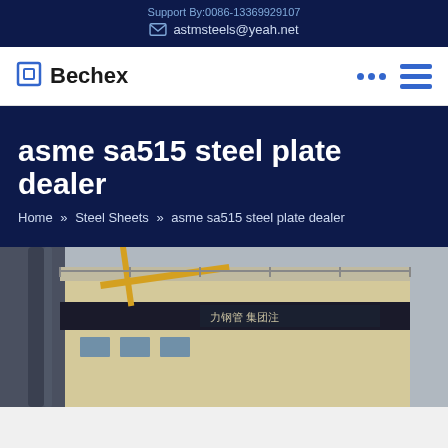Support By:0086-13369929107
astmsteels@yeah.net
Bechex
asme sa515 steel plate dealer
Home » Steel Sheets » asme sa515 steel plate dealer
[Figure (photo): Industrial steel facility building exterior with crane and Chinese signage]